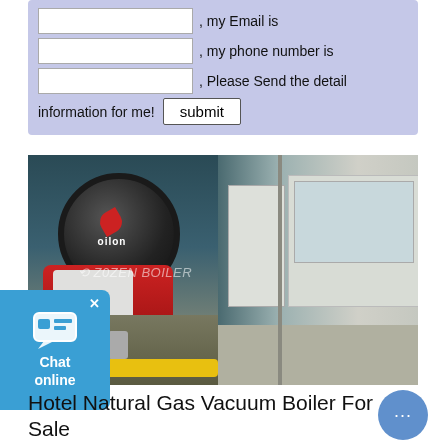| [input] | , my Email is |
| [input] | , my phone number is |
| [input] | , Please Send the detail |
information for me!  [submit]
[Figure (photo): Hotel natural gas vacuum boiler installation showing an Oilon burner on the left with red boiler body and yellow pipes at the bottom, and a large industrial room interior on the right. Watermark reads ZZZENBOILER.]
Hotel Natural Gas Vacuum Boiler For Sale